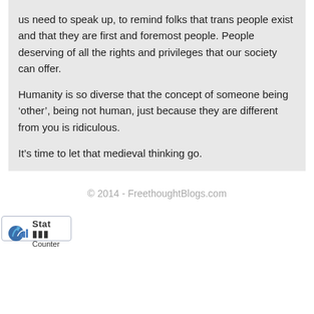us need to speak up, to remind folks that trans people exist and that they are first and foremost people. People deserving of all the rights and privileges that our society can offer.
Humanity is so diverse that the concept of someone being ‘other’, being not human, just because they are different from you is ridiculous.
It’s time to let that medieval thinking go.
© 2014 - FreethoughtBlogs.com
[Figure (logo): StatCounter logo badge with bar chart icon and 'Stat Counter' text]